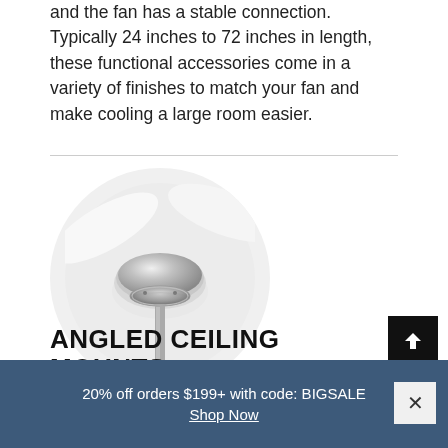and the fan has a stable connection. Typically 24 inches to 72 inches in length, these functional accessories come in a variety of finishes to match your fan and make cooling a large room easier.
[Figure (photo): Close-up circular photo of a ceiling fan canopy/mount in chrome/brushed nickel finish with white fan blades visible, shown against a white background]
ANGLED CEILING MOUNTS
For rooms with sloped ceilings that make
20% off orders $199+ with code: BIGSALE
Shop Now